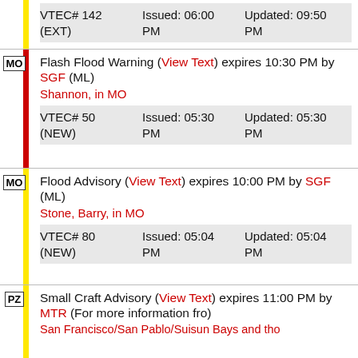|  | VTEC# 142 (EXT) | Issued: 06:00 PM | Updated: 09:50 PM |
| MO | Flash Flood Warning (View Text) expires 10:30 PM by SGF (ML)
Shannon, in MO | VTEC# 50 (NEW) | Issued: 05:30 PM | Updated: 05:30 PM |
| MO | Flood Advisory (View Text) expires 10:00 PM by SGF (ML)
Stone, Barry, in MO | VTEC# 80 (NEW) | Issued: 05:04 PM | Updated: 05:04 PM |
| PZ | Small Craft Advisory (View Text) expires 11:00 PM by MTR (For more information fro)
San Francisco/San Pablo/Suisun Bays and tho |  |  |  |